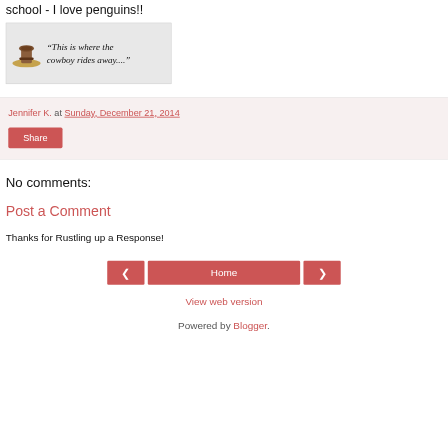school - I love penguins!!
[Figure (illustration): A banner image showing a brown cowboy hat on the left and the italic text "This is where the cowboy rides away...." on a light gray background.]
Jennifer K. at Sunday, December 21, 2014
Share
No comments:
Post a Comment
Thanks for Rustling up a Response!
< Home >
View web version
Powered by Blogger.